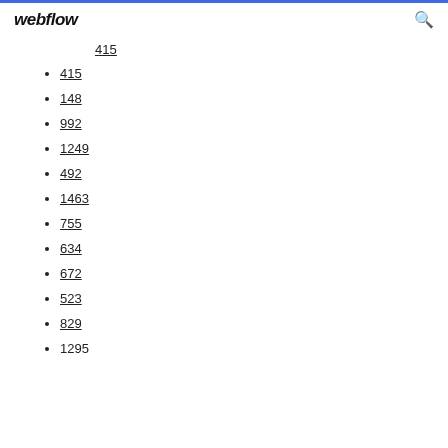webflow
415
148
992
1249
492
1463
755
634
672
523
829
1295